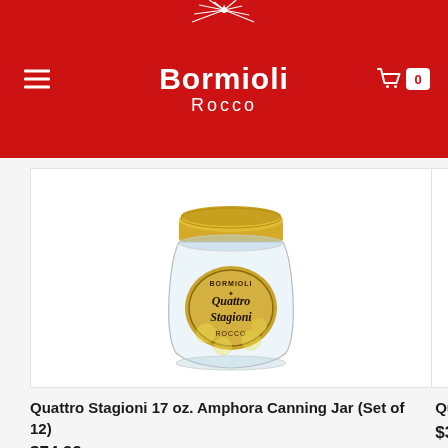Bormioli Rocco
[Figure (photo): Quattro Stagioni 17 oz. Amphora Canning Jar with gold lid and label, set of 12, glass jar product photo on white background]
Quattro Stagioni 17 oz. Amphora Canning Jar (Set of 12)
$74.99
Quattr
$30.99